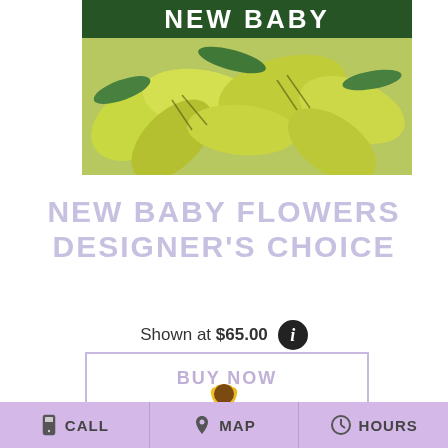[Figure (photo): Photo of yellow-green alstroemeria lily flowers with 'NEW BABY' text overlay in white bold letters on dark green banner at top]
NEW BABY FLOWERS DESIGNER'S CHOICE
Shown at $65.00
BUY NOW
[Figure (photo): Partial view of sunflower petals peeking from below]
CALL  MAP  HOURS